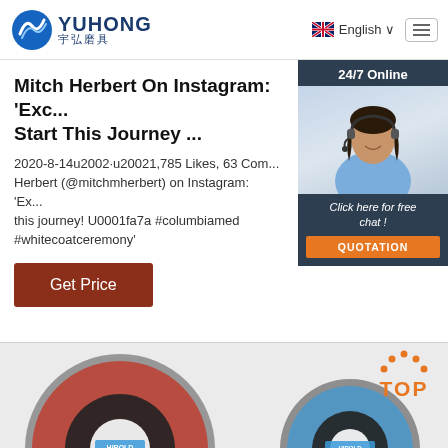[Figure (logo): Yuhong abrasives company logo with blue wave icon and bilingual text YUHONG / 宇弘磨具]
English ∨
Mitch Herbert On Instagram: 'Exc... Start This Journey ...
2020-8-14u2002·u20021,785 Likes, 63 Com... Herbert (@mitchmherbert) on Instagram: 'Ex... this journey! U0001fa7a #columbiamed #whitecoatceremony'
Get Price
[Figure (photo): Customer service representative wearing headset, smiling, with 24/7 Online label and Click here for free chat / QUOTATION button overlay]
[Figure (photo): Partial view of abrasive cutting discs (grinding wheels) in grey background at bottom of page, with orange TOP badge in upper right]